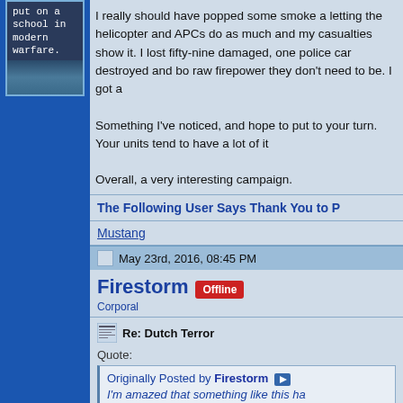[Figure (screenshot): Thumbnail image with text 'put on a school in modern warfare.' on dark blue/teal background]
I really should have popped some smoke a letting the helicopter and APCs do as much and my casualties show it. I lost fifty-nine damaged, one police car destroyed and bo raw firepower they don't need to be. I got a

Something I've noticed, and hope to put to your turn. Your units tend to have a lot of it

Overall, a very interesting campaign.
The Following User Says Thank You to P
Mustang
May 23rd, 2016, 08:45 PM
Firestorm
Corporal
Re: Dutch Terror
Quote:
Originally Posted by Firestorm
I'm amazed that something like this ha
Well... this AAR has a very odd feel to it all